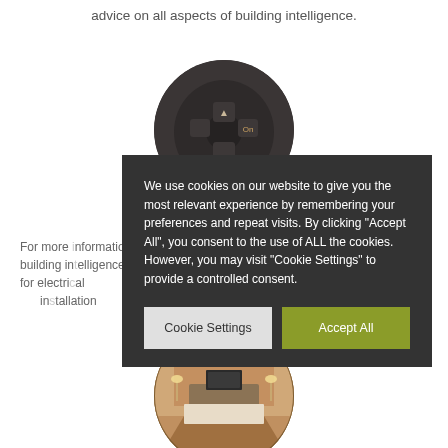advice on all aspects of building intelligence.
[Figure (photo): Circular cropped photo of a dark electronic remote control device with directional buttons]
For more information on building intelligence solutions for electrical installation
We use cookies on our website to give you the most relevant experience by remembering your preferences and repeat visits. By clicking "Accept All", you consent to the use of ALL the cookies. However, you may visit "Cookie Settings" to provide a controlled consent.
Cookie Settings
Accept All
[Figure (photo): Circular cropped photo of a luxury hotel room interior with warm lighting]